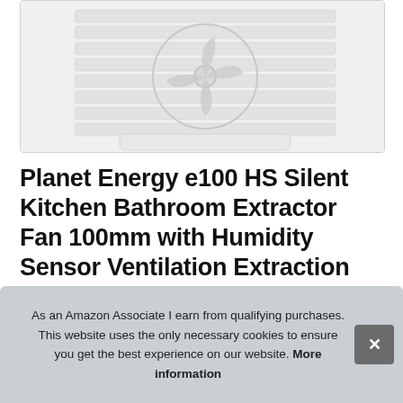[Figure (photo): Close-up photo of a white extractor fan with horizontal grille slats and visible fan blades/motor in the center, shown in grayscale.]
Planet Energy e100 HS Silent Kitchen Bathroom Extractor Fan 100mm with Humidity Sensor Ventilation Extraction
[Figure (photo): Thumbnail images of the extractor fan product, partially visible behind cookie consent banner.]
As an Amazon Associate I earn from qualifying purchases. This website uses the only necessary cookies to ensure you get the best experience on our website. More information